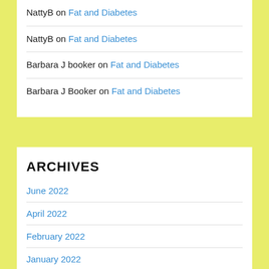NattyB on Fat and Diabetes
NattyB on Fat and Diabetes
Barbara J booker on Fat and Diabetes
Barbara J Booker on Fat and Diabetes
ARCHIVES
June 2022
April 2022
February 2022
January 2022